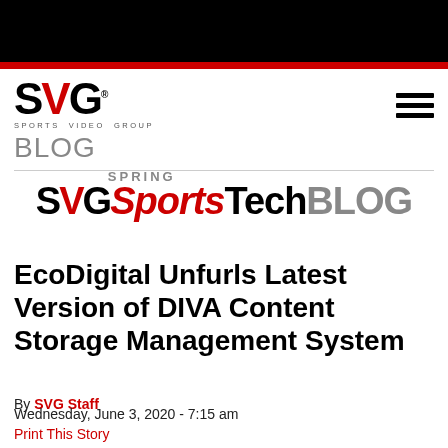SVG Sports Video Group BLOG
[Figure (logo): SVG Sports Tech Blog Spring logo — SVG letters with sports in red italic, Tech in black bold, BLOG in gray bold, SPRING text above]
EcoDigital Unfurls Latest Version of DIVA Content Storage Management System
By SVG Staff
Wednesday, June 3, 2020 - 7:15 am
Print This Story